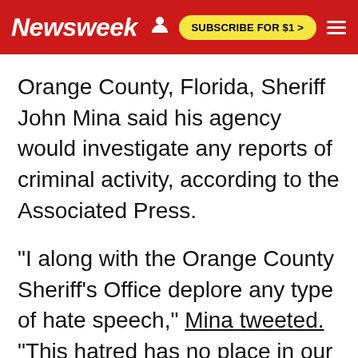Newsweek | SUBSCRIBE FOR $1 >
Orange County, Florida, Sheriff John Mina said his agency would investigate any reports of criminal activity, according to the Associated Press.
"I along with the Orange County Sheriff's Office deplore any type of hate speech," Mina tweeted. "This hatred has no place in our society."